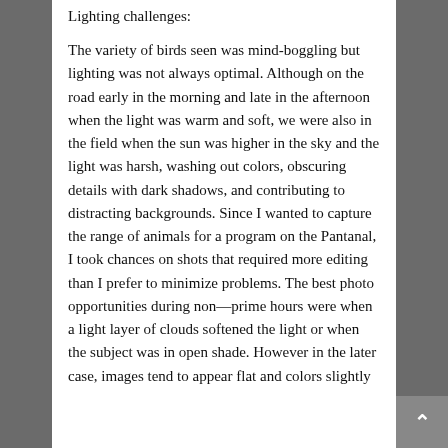Lighting challenges:
The variety of birds seen was mind-boggling but lighting was not always optimal. Although on the road early in the morning and late in the afternoon when the light was warm and soft, we were also in the field when the sun was higher in the sky and the light was harsh, washing out colors, obscuring details with dark shadows, and contributing to distracting backgrounds. Since I wanted to capture the range of animals for a program on the Pantanal, I took chances on shots that required more editing than I prefer to minimize problems. The best photo opportunities during non—prime hours were when a light layer of clouds softened the light or when the subject was in open shade. However in the later case, images tend to appear flat and colors slightly